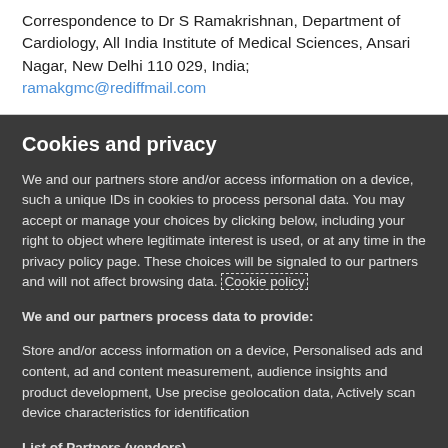Correspondence to Dr S Ramakrishnan, Department of Cardiology, All India Institute of Medical Sciences, Ansari Nagar, New Delhi 110 029, India; ramakgmc@rediffmail.com
Cookies and privacy
We and our partners store and/or access information on a device, such a unique IDs in cookies to process personal data. You may accept or manage your choices by clicking below, including your right to object where legitimate interest is used, or at any time in the privacy policy page. These choices will be signaled to our partners and will not affect browsing data. Cookie policy
We and our partners process data to provide:
Store and/or access information on a device, Personalised ads and content, ad and content measurement, audience insights and product development, Use precise geolocation data, Actively scan device characteristics for identification
List of Partners (vendors)
I Accept